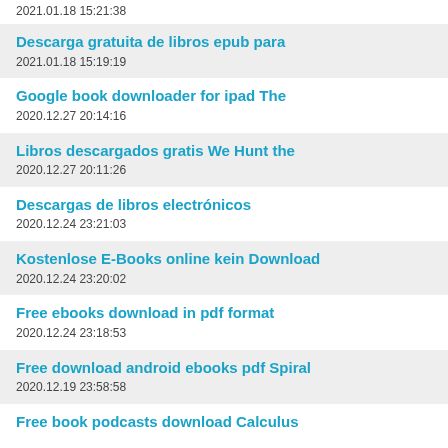2021.01.18 15:21:38
Descarga gratuita de libros epub para
2021.01.18 15:19:19
Google book downloader for ipad The
2020.12.27 20:14:16
Libros descargados gratis We Hunt the
2020.12.27 20:11:26
Descargas de libros electr&#243;nicos
2020.12.24 23:21:03
Kostenlose E-Books online kein Download
2020.12.24 23:20:02
Free ebooks download in pdf format
2020.12.24 23:18:53
Free download android ebooks pdf Spiral
2020.12.19 23:58:58
Free book podcasts download Calculus